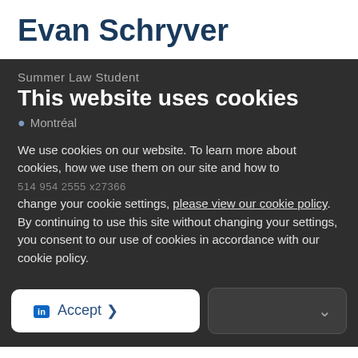Evan Schryver
Summer Law Student
This website uses cookies
Montréal
514 954 2555 x27366
We use cookies on our website. To learn more about cookies, how we use them on our site and how to change your cookie settings, please view our cookie policy. By continuing to use this site without changing your settings, you consent to our use of cookies in accordance with our cookie policy.
Accept